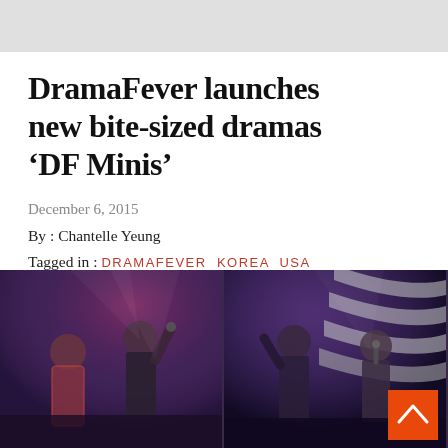DramaFever launches new bite-sized dramas ‘DF Minis’
December 6, 2015
By : Chantelle Yeung
Tagged in : DRAMAFEVER KOREA USA
[Figure (photo): Two side-by-side concert/event photos showing performers on a dark stage with purple/magenta lighting and stage backdrop with stripe design. Left image shows two people performing, right image shows two people on stage.]